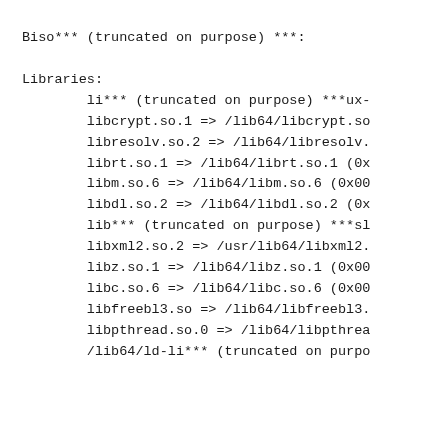Biso*** (truncated on purpose) ***:

Libraries:
        li*** (truncated on purpose) ***ux-
        libcrypt.so.1 => /lib64/libcrypt.so
        libresolv.so.2 => /lib64/libresolv.
        librt.so.1 => /lib64/librt.so.1 (0x
        libm.so.6 => /lib64/libm.so.6 (0x00
        libdl.so.2 => /lib64/libdl.so.2 (0x
        lib*** (truncated on purpose) ***sl
        libxml2.so.2 => /usr/lib64/libxml2.
        libz.so.1 => /lib64/libz.so.1 (0x00
        libc.so.6 => /lib64/libc.so.6 (0x00
        libfreebl3.so => /lib64/libfreebl3.
        libpthread.so.0 => /lib64/libpthrea
        /lib64/ld-li*** (truncated on purpo